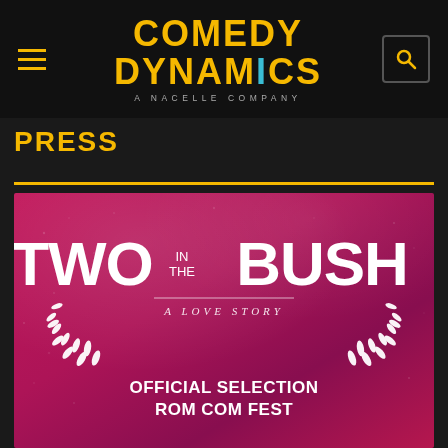Comedy Dynamics — A Nacelle Company
PRESS
[Figure (photo): Movie poster for 'Two in the Bush: A Love Story' on a magenta/pink gradient background, showing white bold text title, a decorative line, italic subtitle 'A LOVE STORY', and a laurel wreath with text 'OFFICIAL SELECTION ROM COM FEST']